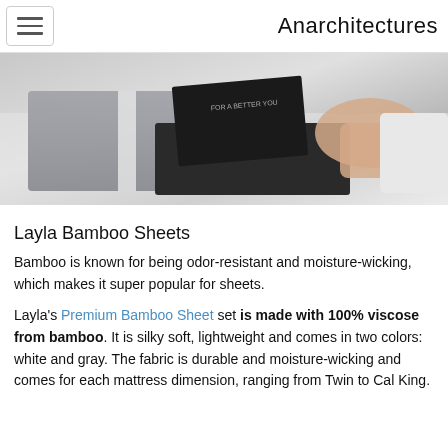Anarchitectures
[Figure (photo): A hand holding a dark branded card or box over a neatly folded set of gray bamboo sheets on a white surface. The packaging appears to have text reading 'FOR A BETTER YOU'.]
Layla Bamboo Sheets
Bamboo is known for being odor-resistant and moisture-wicking, which makes it super popular for sheets.
Layla's Premium Bamboo Sheet set is made with 100% viscose from bamboo. It is silky soft, lightweight and comes in two colors: white and gray. The fabric is durable and moisture-wicking and comes for each mattress dimension, ranging from Twin to Cal King.